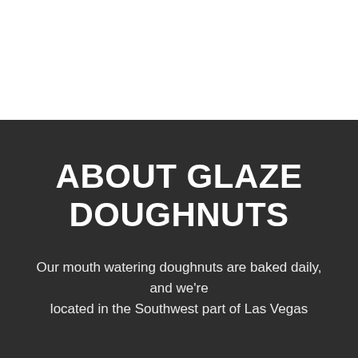ABOUT GLAZE DOUGHNUTS
Our mouth watering doughnuts are baked daily, and we're located in the Southwest part of Las Vegas